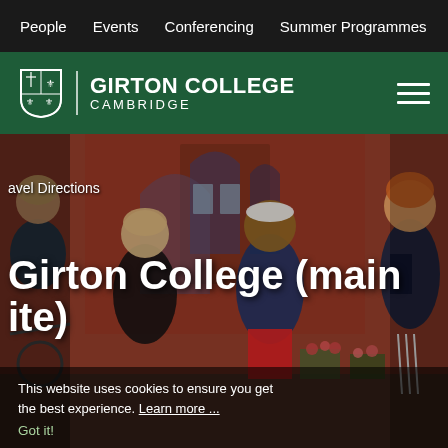People  Events  Conferencing  Summer Programmes  Giv
[Figure (logo): Girton College Cambridge logo with shield and text on dark green header bar, hamburger menu icon on right]
[Figure (photo): Students standing and talking outside Girton College's red brick Victorian Gothic building with arched windows. Shows four young people in casual clothing, one with a bicycle.]
avel Directions
Girton College (main ite)
This website uses cookies to ensure you get the best experience. Learn more ...
Got it!